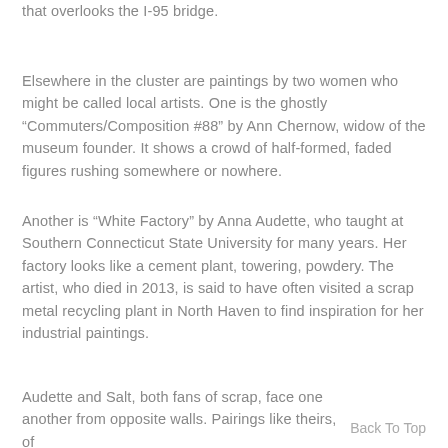that overlooks the I-95 bridge.
Elsewhere in the cluster are paintings by two women who might be called local artists. One is the ghostly “Commuters/Composition #88” by Ann Chernow, widow of the museum founder. It shows a crowd of half-formed, faded figures rushing somewhere or nowhere.
Another is “White Factory” by Anna Audette, who taught at Southern Connecticut State University for many years. Her factory looks like a cement plant, towering, powdery. The artist, who died in 2013, is said to have often visited a scrap metal recycling plant in North Haven to find inspiration for her industrial paintings.
Audette and Salt, both fans of scrap, face one another from opposite walls. Pairings like theirs, of
Back To Top